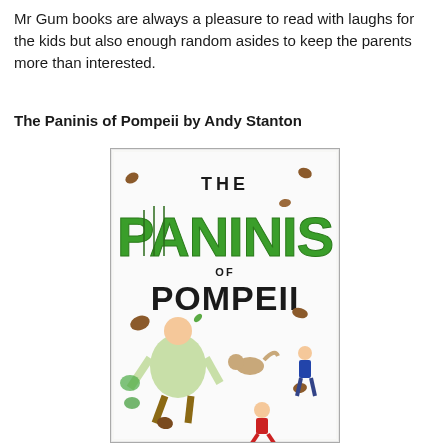Mr Gum books are always a pleasure to read with laughs for the kids but also enough random asides to keep the parents more than interested.
The Paninis of Pompeii by Andy Stanton
[Figure (photo): Book cover of 'The Paninis of Pompeii' by Andy Stanton. The cover shows large green bold text 'PANINIS' with 'THE' above it and 'OF POMPEII' below. Cartoon characters and food items are flying through the air chaotically — including a large rotund figure in a light green shirt, a child in red, a child in blue, a dog, and various paninis/food items scattered around a white background.]